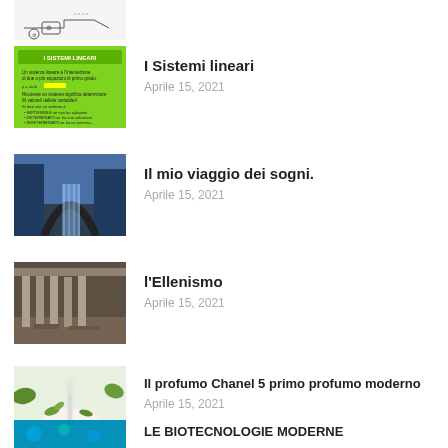[Figure (illustration): Partial thumbnail showing a technical/engineering illustration, cropped at top]
[Figure (screenshot): Green slide thumbnail with Italian text about linear systems]
I Sistemi lineari
Aprile 15, 2021
[Figure (photo): Photo of a large water fountain sculpture in an urban setting]
Il mio viaggio dei sogni.
Aprile 15, 2021
[Figure (photo): Photo of a historic interior with columns, possibly ancient ruins or classical building]
l'Ellenismo
Aprile 15, 2021
[Figure (photo): Photo of mortar and pestle with herbs and essential oil bottles]
Il profumo Chanel 5 primo profumo moderno
Aprile 15, 2021
[Figure (photo): Partial thumbnail with blue/teal background, possibly biotechnology imagery]
LE BIOTECNOLOGIE MODERNE